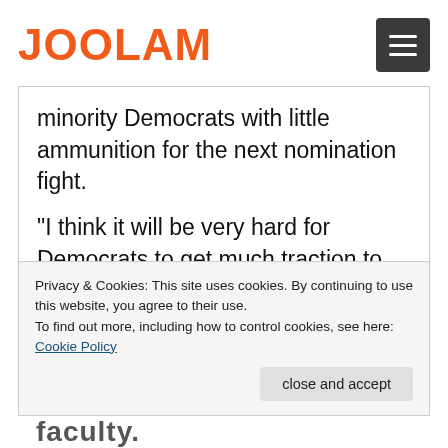JOOLAM
minority Democrats with little ammunition for the next nomination fight.
“I think it will be very hard for Democrats to get much traction to derail a future Trump nominee without the threat of a filibuster,” George Washington University political
Privacy & Cookies: This site uses cookies. By continuing to use this website, you agree to their use.
To find out more, including how to control cookies, see here: Cookie Policy
close and accept
faculty.